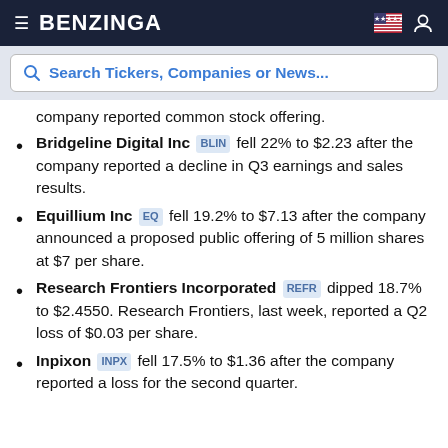BENZINGA
[Figure (screenshot): Search bar with placeholder text: Search Tickers, Companies or News...]
company reported common stock offering.
Bridgeline Digital Inc BLIN fell 22% to $2.23 after the company reported a decline in Q3 earnings and sales results.
Equillium Inc EQ fell 19.2% to $7.13 after the company announced a proposed public offering of 5 million shares at $7 per share.
Research Frontiers Incorporated REFR dipped 18.7% to $2.4550. Research Frontiers, last week, reported a Q2 loss of $0.03 per share.
Inpixon INPX fell 17.5% to $1.36 after the company reported a loss for the second quarter.